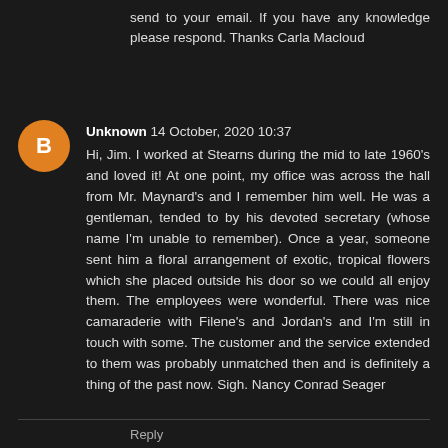send to your email. If you have any knowledge please respond. Thanks Carla Macloud
Unknown 14 October, 2020 10:37
Hi, Jim. I worked at Stearns during the mid to late 1960's and loved it! At one point, my office was across the hall from Mr. Maynard's and I remember him well. He was a gentleman, tended to by his devoted secretary (whose name I'm unable to remember). Once a year, someone sent him a floral arrangement of exotic, tropical flowers which she placed outside his door so we could all enjoy them. The employees were wonderful. There was nice camaraderie with Filene's and Jordan's and I'm still in touch with some. The customer and the service extended to them was probably unmatched then and is definitely a thing of the past now. Sigh. Nancy Conrad Seager
Reply